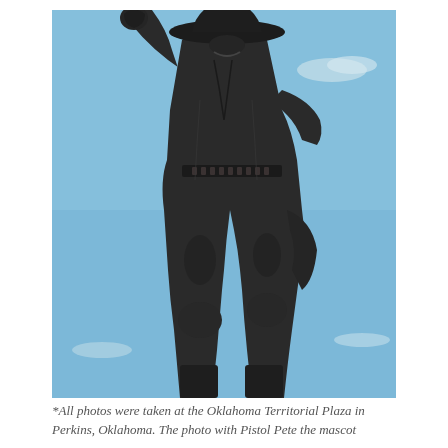[Figure (photo): A close-up photograph taken from below of a large dark bronze statue of a cowboy figure (Pistol Pete mascot) raising one fist in the air, wearing a wide-brimmed hat, jacket, bullet belt, and boots, against a blue sky with light clouds. The statue is photographed at the Oklahoma Territorial Plaza in Perkins, Oklahoma.]
*All photos were taken at the Oklahoma Territorial Plaza in Perkins, Oklahoma. The photo with Pistol Pete the mascot